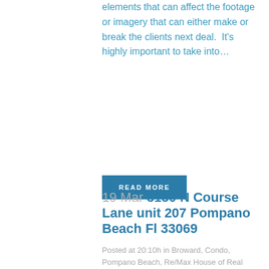elements that can affect the footage or imagery that can either make or break the clients next deal.  It's highly important to take into…
READ MORE
19 Mar 3150 N Course Lane unit 207 Pompano Beach Fl 33069
Posted at 20:10h in Broward, Condo, Pompano Beach, Re/Max House of Real Estate, Showcases · Share